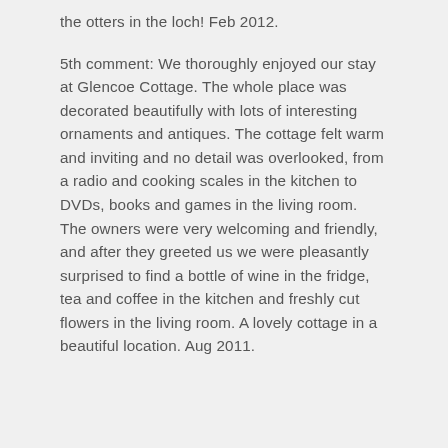the otters in the loch! Feb 2012.
5th comment: We thoroughly enjoyed our stay at Glencoe Cottage. The whole place was decorated beautifully with lots of interesting ornaments and antiques. The cottage felt warm and inviting and no detail was overlooked, from a radio and cooking scales in the kitchen to DVDs, books and games in the living room. The owners were very welcoming and friendly, and after they greeted us we were pleasantly surprised to find a bottle of wine in the fridge, tea and coffee in the kitchen and freshly cut flowers in the living room. A lovely cottage in a beautiful location. Aug 2011.